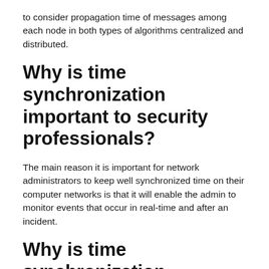to consider propagation time of messages among each node in both types of algorithms centralized and distributed.
Why is time synchronization important to security professionals?
The main reason it is important for network administrators to keep well synchronized time on their computer networks is that it will enable the admin to monitor events that occur in real-time and after an incident.
Why is time synchronization important for routers and switches?